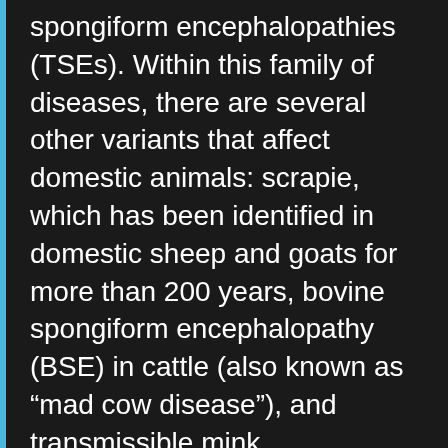spongiform encephalopathies (TSEs). Within this family of diseases, there are several other variants that affect domestic animals: scrapie, which has been identified in domestic sheep and goats for more than 200 years, bovine spongiform encephalopathy (BSE) in cattle (also known as “mad cow disease”), and transmissible mink encephalopathy in farmed mink.

Several rare human diseases are also TSEs. Creutzfeldt-Jakob